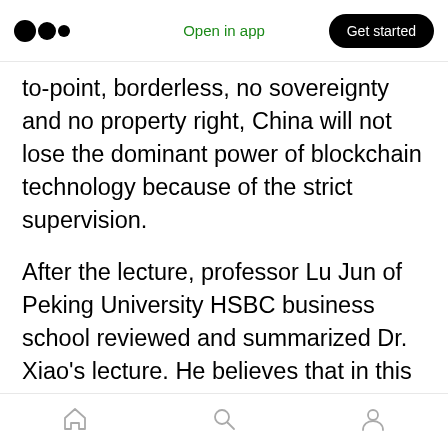Medium logo | Open in app | Get started
to-point, borderless, no sovereignty and no property right, China will not lose the dominant power of blockchain technology because of the strict supervision.
After the lecture, professor Lu Jun of Peking University HSBC business school reviewed and summarized Dr. Xiao’s lecture. He believes that in this bitcoin craze, the practice has greatly promoted the academic thinking. Although bitcoin has been around for nearly 10 years, during which many people in the financial academic circle regard it as a “pyramid selling”, more and more
Home | Search | Profile